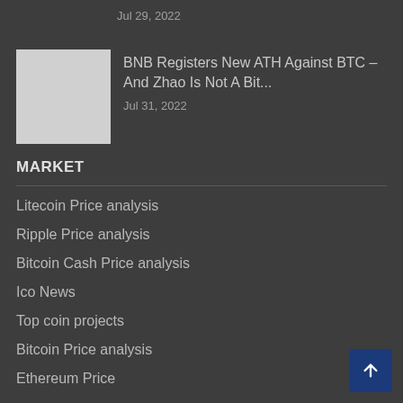Jul 29, 2022
[Figure (photo): Thumbnail image for article about BNB]
BNB Registers New ATH Against BTC – And Zhao Is Not A Bit...
Jul 31, 2022
MARKET
Litecoin Price analysis
Ripple Price analysis
Bitcoin Cash Price analysis
Ico News
Top coin projects
Bitcoin Price analysis
Ethereum Price